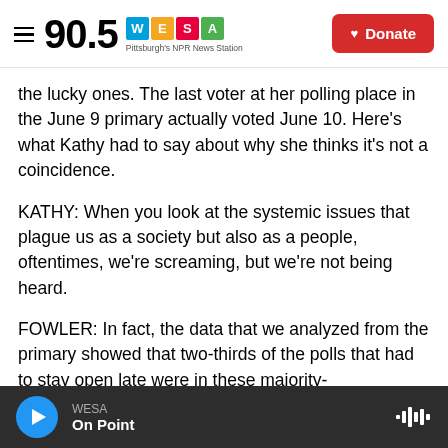90.5 WESA — Pittsburgh's NPR News Station | Donate
the lucky ones. The last voter at her polling place in the June 9 primary actually voted June 10. Here's what Kathy had to say about why she thinks it's not a coincidence.
KATHY: When you look at the systemic issues that plague us as a society but also as a people, oftentimes, we're screaming, but we're not being heard.
FOWLER: In fact, the data that we analyzed from the primary showed that two-thirds of the polls that had to stay open late were in these majority-
WESA — On Point